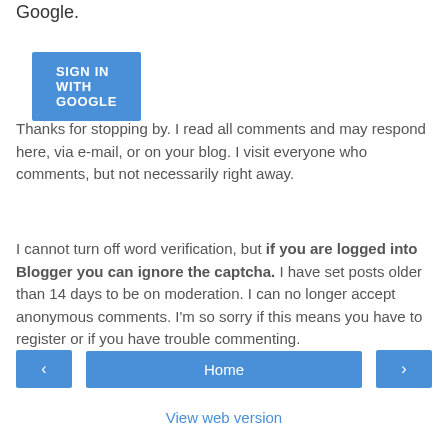Google.
SIGN IN WITH GOOGLE
Thanks for stopping by. I read all comments and may respond here, via e-mail, or on your blog. I visit everyone who comments, but not necessarily right away.
I cannot turn off word verification, but if you are logged into Blogger you can ignore the captcha. I have set posts older than 14 days to be on moderation. I can no longer accept anonymous comments. I'm so sorry if this means you have to register or if you have trouble commenting.
‹
Home
›
View web version